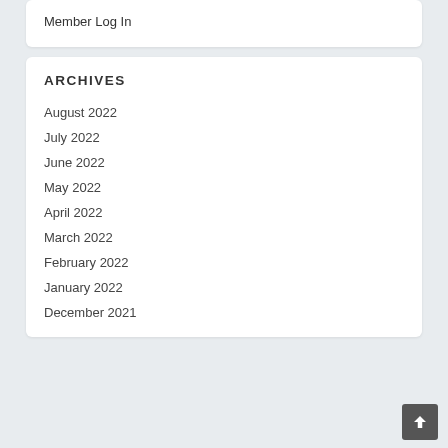Member Log In
ARCHIVES
August 2022
July 2022
June 2022
May 2022
April 2022
March 2022
February 2022
January 2022
December 2021